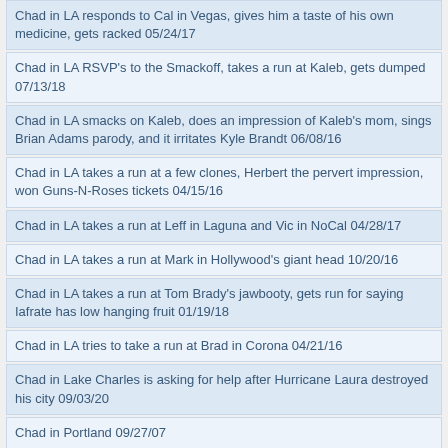Chad in LA responds to Cal in Vegas, gives him a taste of his own medicine, gets racked 05/24/17
Chad in LA RSVP's to the Smackoff, takes a run at Kaleb, gets dumped 07/13/18
Chad in LA smacks on Kaleb, does an impression of Kaleb's mom, sings Brian Adams parody, and it irritates Kyle Brandt 06/08/16
Chad in LA takes a run at a few clones, Herbert the pervert impression, won Guns-N-Roses tickets 04/15/16
Chad in LA takes a run at Leff in Laguna and Vic in NoCal 04/28/17
Chad in LA takes a run at Mark in Hollywood's giant head 10/20/16
Chad in LA takes a run at Tom Brady's jawbooty, gets run for saying Iafrate has low hanging fruit 01/19/18
Chad in LA tries to take a run at Brad in Corona 04/21/16
Chad in Lake Charles is asking for help after Hurricane Laura destroyed his city 09/03/20
Chad in Portland 09/27/07
Chad in Portland 01/14/09
Chad in Portland 06/26/09
Chad in Portland - Alvin parody song 'One Shining Alvin' 03/17/09
Chad in Portland - It's Magic parody for Magic Johnson, looking to tap another hoe 05/22/08
Chad in Portland and reaction 07/16/07
Chad in Portland and reaction 10/26/07